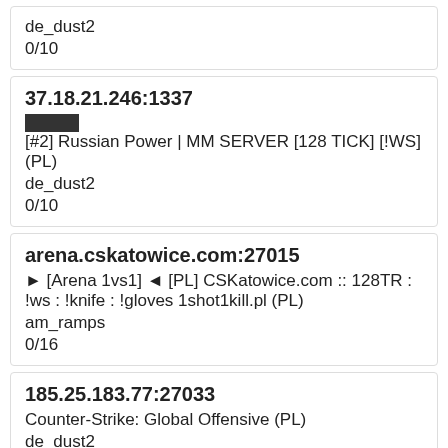de_dust2
0/10
37.18.21.246:1337
[#2] Russian Power | MM SERVER [128 TICK] [!WS] (PL)
de_dust2
0/10
arena.cskatowice.com:27015
► [Arena 1vs1] ◄ [PL] CSKatowice.com :: 128TR : !ws : !knife : !gloves 1shot1kill.pl (PL)
am_ramps
0/16
185.25.183.77:27033
Counter-Strike: Global Offensive (PL)
de_dust2